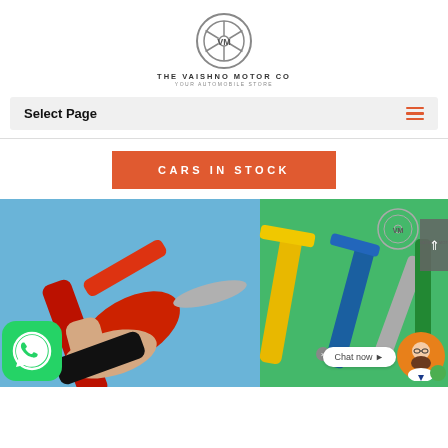[Figure (logo): THE VAISHNO MOTOR CO logo — circular steering wheel emblem with VM letters, and tagline YOUR AUTOMOBILE STORE]
Select Page
[Figure (other): Button: CARS IN STOCK on orange background]
[Figure (photo): Photo of a hand holding a red fuel pump nozzle with yellow and blue nozzles in background, green backdrop. WhatsApp icon bottom left, Chat now bubble, VM logo circle top right, avatar chat icon bottom right, scroll-up button right side.]